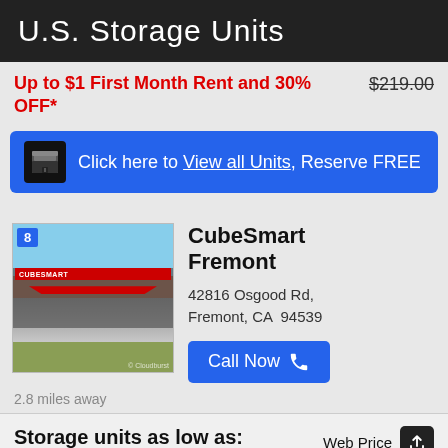U.S. Storage Units
Up to $1 First Month Rent and 30% OFF*
$219.00 (strikethrough)
Click here to View all Units, Reserve FREE
CubeSmart Fremont
42816 Osgood Rd, Fremont, CA 94539
Call Now
2.8 miles away
Storage units as low as:
Web Price $318.75
Discount on select units:
Regular Price